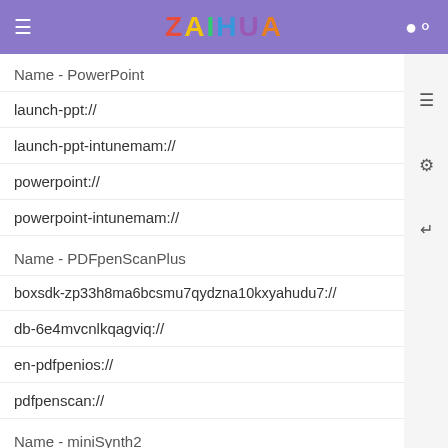ZAIHUA
Name - PowerPoint
launch-ppt://
launch-ppt-intunemam://
powerpoint://
powerpoint-intunemam://
Name - PDFpenScanPlus
boxsdk-zp33h8ma6bcsmu7qydzna10kxyahudu7://
db-6e4mvcnlkqagviq://
en-pdfpenios://
pdfpenscan://
Name - miniSynth2
miniSynth2://